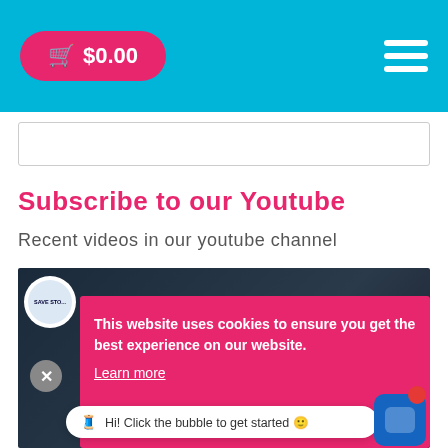$0.00
[Figure (screenshot): Search input box]
Subscribe to our Youtube
Recent videos in our youtube channel
[Figure (screenshot): YouTube video thumbnail with dark background, channel avatar showing SAVE STO... text, overlaid by a pink/red cookie consent banner reading 'This website uses cookies to ensure you get the best experience on our website. Learn more', and a chat bubble at the bottom saying 'Hi! Click the bubble to get started' with a sewing machine icon, plus a blue chat widget with red notification dot]